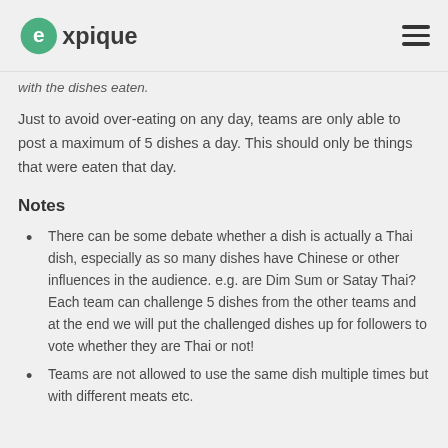expique [logo] [hamburger menu]
with the dishes eaten.
Just to avoid over-eating on any day, teams are only able to post a maximum of 5 dishes a day. This should only be things that were eaten that day.
Notes
There can be some debate whether a dish is actually a Thai dish, especially as so many dishes have Chinese or other influences in the audience. e.g. are Dim Sum or Satay Thai? Each team can challenge 5 dishes from the other teams and at the end we will put the challenged dishes up for followers to vote whether they are Thai or not!
Teams are not allowed to use the same dish multiple times but with different meats etc.